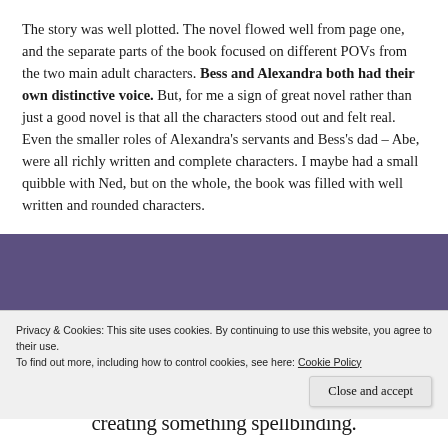The story was well plotted. The novel flowed well from page one, and the separate parts of the book focused on different POVs from the two main adult characters. Bess and Alexandra both had their own distinctive voice. But, for me a sign of great novel rather than just a good novel is that all the characters stood out and felt real. Even the smaller roles of Alexandra's servants and Bess's dad – Abe, were all richly written and complete characters. I maybe had a small quibble with Ned, but on the whole, the book was filled with well written and rounded characters.
Privacy & Cookies: This site uses cookies. By continuing to use this website, you agree to their use.
To find out more, including how to control cookies, see here: Cookie Policy
creating something spellbinding.